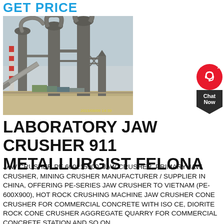GET PRICE
[Figure (photo): Industrial jaw crusher / mining machinery facility with large metal equipment, pipes, cyclones, and a conveyor belt, photographed outdoors. Timestamp reads 2013/08/09 14:39.]
LABORATORY JAW CRUSHER 911 METALLURGIST FELONA
JAW CRUSHER PE 600215900. JAW CRUSHER, PRIMARY JAW CRUSHER, MINING CRUSHER MANUFACTURER / SUPPLIER IN CHINA, OFFERING PE-SERIES JAW CRUSHER TO VIETNAM (PE-600X900), HOT ROCK CRUSHING MACHINE JAW CRUSHER CONE CRUSHER FOR COMMERCIAL CONCRETE WITH ISO CE, DIORITE ROCK CONE CRUSHER AGGREGATE QUARRY FOR COMMERCIAL CONCRETE STATION AND SO ON.